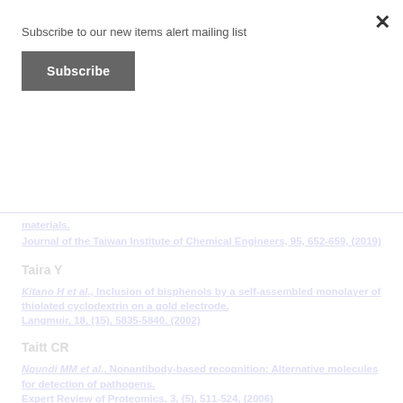Subscribe to our new items alert mailing list
Subscribe
materials.
Journal of the Taiwan Institute of Chemical Engineers, 95, 652-659, (2019)
Taira Y
Kitano H et al., Inclusion of bisphenols by a self-assembled monolayer of thiolated cyclodextrin on a gold electrode.
Langmuir, 18, (15), 5835-5840, (2002)
Taitt CR
Ngundi MM et al., Nonantibody-based recognition: Alternative molecules for detection of pathogens.
Expert Review of Proteomics, 3, (5), 511-524, (2006)